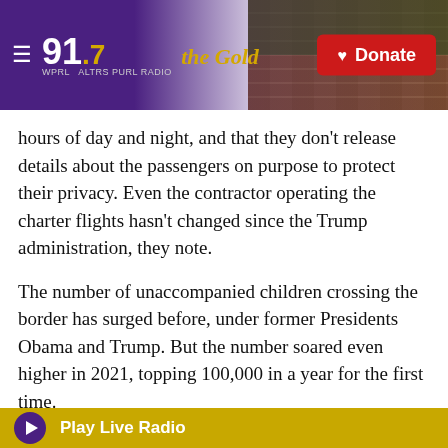≡ WPRL 91.7 The Gold | Donate
hours of day and night, and that they don't release details about the passengers on purpose to protect their privacy. Even the contractor operating the charter flights hasn't changed since the Trump administration, they note.
The number of unaccompanied children crossing the border has surged before, under former Presidents Obama and Trump. But the number soared even higher in 2021, topping 100,000 in a year for the first time.
Immigrant advocates say the amount of fear-mongering about unaccompanied children is rising,
▶ Play Live Radio